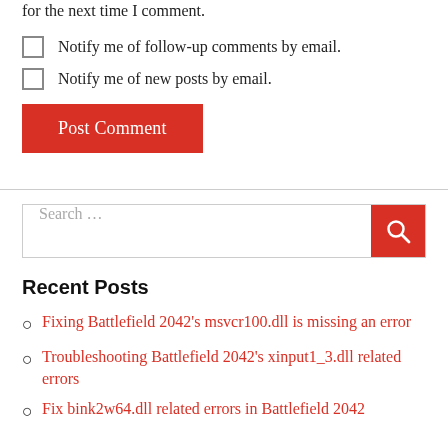for the next time I comment.
Notify me of follow-up comments by email.
Notify me of new posts by email.
Post Comment
Search ...
Recent Posts
Fixing Battlefield 2042's msvcr100.dll is missing an error
Troubleshooting Battlefield 2042's xinput1_3.dll related errors
Fix bink2w64.dll related errors in Battlefield 2042